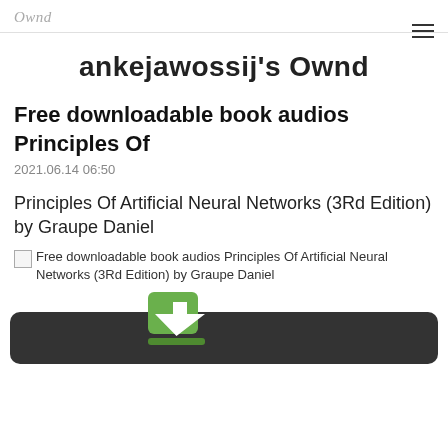Ownd
ankejawossij's Ownd
Free downloadable book audios Principles Of
2021.06.14 06:50
Principles Of Artificial Neural Networks (3Rd Edition) by Graupe Daniel
[Figure (illustration): Broken image placeholder with alt text: Free downloadable book audios Principles Of Artificial Neural Networks (3Rd Edition) by Graupe Daniel]
[Figure (illustration): Partial download button graphic with green arrow icon on dark background, cropped at bottom of page]